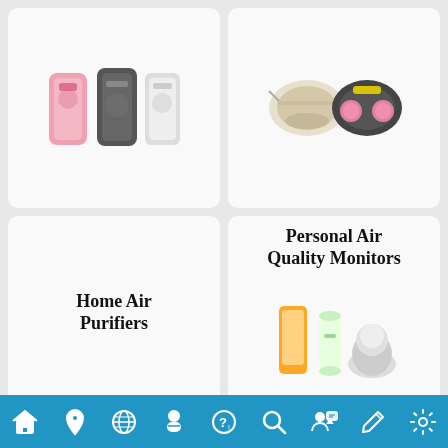[Figure (photo): Air purifiers: pink, black, and white units]
[Figure (photo): Respirator masks: N95 and half-face mask]
Home Air Purifiers
Personal Air Quality Monitors
[Figure (photo): Personal air quality monitor devices]
DIY Air Sensors
Professional Air Quality Monitoring Stations
[Figure (photo): DIY air sensor components and modules]
[Figure (photo): Professional air quality monitoring station equipment]